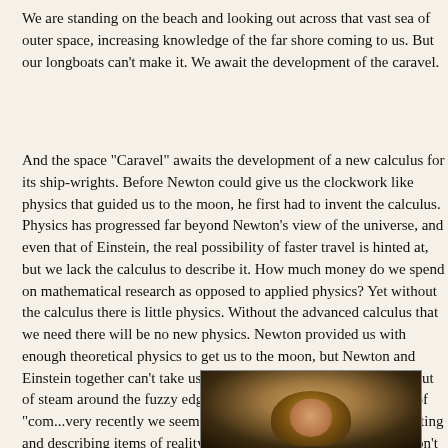We are standing on the beach and looking out across that vast sea of outer space, increasing knowledge of the far shore coming to us. But our longboats can't make it. We await the development of the caravel.
And the space "Caravel" awaits the development of a new calculus for its ship-wrights. Before Newton could give us the clockwork like physics that guided us to the moon, he first had to invent the calculus. Physics has progressed far beyond Newton's view of the universe, and even that of Einstein, the real possibility of faster travel is hinted at, but we lack the calculus to describe it. How much money do we spend on mathematical research as opposed to applied physics? Yet without the calculus there is little physics. Without the advanced calculus that we need there will be no new physics. Newton provided us with enough theoretical physics to get us to the moon, but Newton and Einstein together can't take us where we need to go. Newton ran out of steam around the fuzzy edges of Einstein's universe, the realm of "com... very recently we seemed to be doing little more than collecting and describing items of reality that have become observable but don't fit into the order described by Newton or Einstein.
[Figure (photo): A classical oil painting portrait showing a figure with curly hair against a dark background, rendered in warm brown and golden tones reminiscent of old master portraiture.]